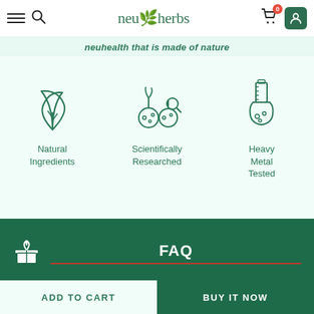[Figure (logo): Neuherbs logo with leaf icon and brand name in teal green]
neuhealth that is made of nature
[Figure (illustration): Three feature icons: Natural Ingredients (plant leaf), Scientifically Researched (chemistry flasks with berries), Heavy Metal Tested (beaker with liquid)]
Natural Ingredients
Scientifically Researched
Heavy Metal Tested
[Figure (illustration): Gift box icon (white) with FAQ label and underline on dark green background]
FAQ
ADD TO CART
BUY IT NOW